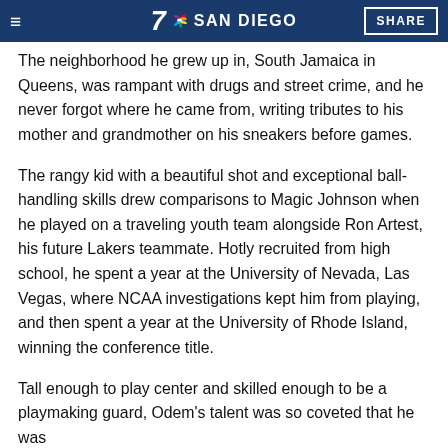7 SAN DIEGO  SHARE
The neighborhood he grew up in, South Jamaica in Queens, was rampant with drugs and street crime, and he never forgot where he came from, writing tributes to his mother and grandmother on his sneakers before games.
The rangy kid with a beautiful shot and exceptional ball-handling skills drew comparisons to Magic Johnson when he played on a traveling youth team alongside Ron Artest, his future Lakers teammate. Hotly recruited from high school, he spent a year at the University of Nevada, Las Vegas, where NCAA investigations kept him from playing, and then spent a year at the University of Rhode Island, winning the conference title.
Tall enough to play center and skilled enough to be a playmaking guard, Odem's talent was so coveted that he was